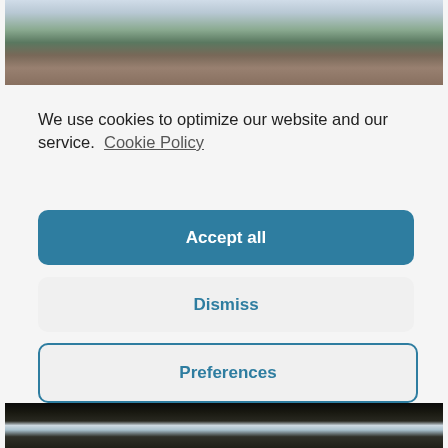[Figure (photo): Outdoor photo showing trees, sky, and brick buildings in the background — top portion of page]
We use cookies to optimize our website and our service. Cookie Policy
Accept all
Dismiss
Preferences
[Figure (photo): Outdoor nature photo — bottom portion of page, partially visible]